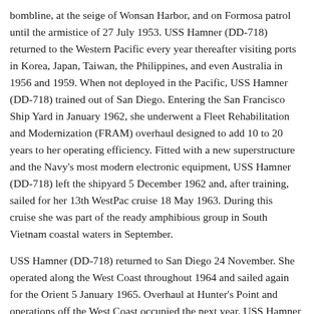bombline, at the seige of Wonsan Harbor, and on Formosa patrol until the armistice of 27 July 1953. USS Hamner (DD-718) returned to the Western Pacific every year thereafter visiting ports in Korea, Japan, Taiwan, the Philippines, and even Australia in 1956 and 1959. When not deployed in the Pacific, USS Hamner (DD-718) trained out of San Diego. Entering the San Francisco Ship Yard in January 1962, she underwent a Fleet Rehabilitation and Modernization (FRAM) overhaul designed to add 10 to 20 years to her operating efficiency. Fitted with a new superstructure and the Navy's most modern electronic equipment, USS Hamner (DD-718) left the shipyard 5 December 1962 and, after training, sailed for her 13th WestPac cruise 18 May 1963. During this cruise she was part of the ready amphibious group in South Vietnam coastal waters in September.
USS Hamner (DD-718) returned to San Diego 24 November. She operated along the West Coast throughout 1964 and sailed again for the Orient 5 January 1965. Overhaul at Hunter's Point and operations off the West Coast occupied the next year. USS Hamner (DD-718) got underway for her 14th WestPac deployment 2 July 1966. Leaving the fighting zone 20 November, a month and a day later, USS Hamner (DD-718) reached San Diego, where early in 1967 she began preparations to meet her next